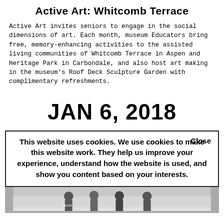Active Art: Whitcomb Terrace
Active Art invites seniors to engage in the social dimensions of art. Each month, museum Educators bring free, memory-enhancing activities to the assisted living communities of Whitcomb Terrace in Aspen and Heritage Park in Carbondale, and also host art making in the museum's Roof Deck Sculpture Garden with complimentary refreshments.
JAN 6, 2018
This website uses cookies. We use cookies to make this website work. They help us improve your experience, understand how the website is used, and show you content based on your interests.  Close
[Figure (photo): Photo of people standing in a room, partially visible at the bottom of the page]